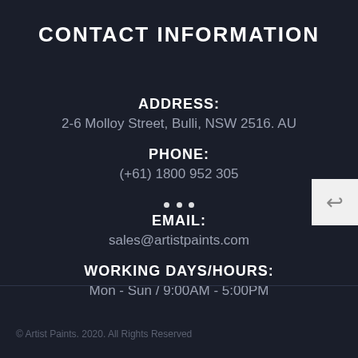CONTACT INFORMATION
ADDRESS:
2-6 Molloy Street, Bulli, NSW 2516. AU
PHONE:
(+61) 1800 952 305
EMAIL:
sales@artistpaints.com
WORKING DAYS/HOURS:
Mon - Sun / 9:00AM - 5:00PM
© Artist Paints. 2020. All Rights Reserved